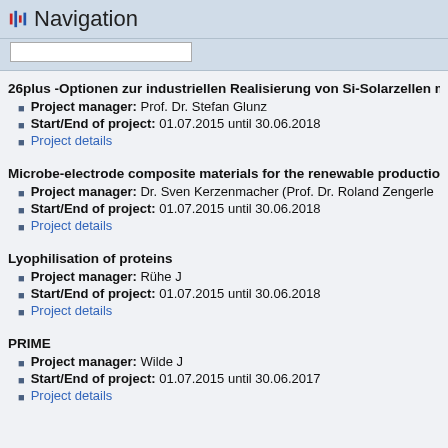Navigation
26plus -Optionen zur industriellen Realisierung von Si-Solarzellen m
Project manager: Prof. Dr. Stefan Glunz
Start/End of project: 01.07.2015 until 30.06.2018
Project details
Microbe-electrode composite materials for the renewable production
Project manager: Dr. Sven Kerzenmacher (Prof. Dr. Roland Zengerle
Start/End of project: 01.07.2015 until 30.06.2018
Project details
Lyophilisation of proteins
Project manager: Rühe J
Start/End of project: 01.07.2015 until 30.06.2018
Project details
PRIME
Project manager: Wilde J
Start/End of project: 01.07.2015 until 30.06.2017
Project details